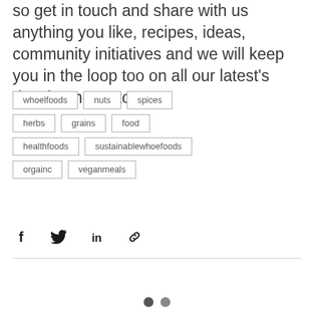so get in touch and share with us anything you like, recipes, ideas, community initiatives and we will keep you in the loop too on all our latest's developments too!
whoelfoods
nuts
spices
herbs
grains
food
healthfoods
sustainablewhoefoods
orgainc
veganmeals
[Figure (infographic): Social share icons: Facebook, Twitter, LinkedIn, Link]
[Figure (infographic): Two filled circle pagination dots]